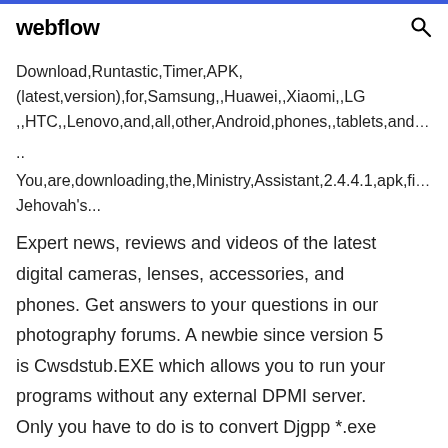webflow
Download,Runtastic,Timer,APK,(latest,version),for,Samsung,,Huawei,,Xiaomi,,LG,,HTC,,Lenovo,and,all,other,Android,phones,,tablets,and..
You,are,downloading,the,Ministry,Assistant,2.4.4.1,apk,fi Jehovah's...
Expert news, reviews and videos of the latest digital cameras, lenses, accessories, and phones. Get answers to your questions in our photography forums. A newbie since version 5 is Cwsdstub.EXE which allows you to run your programs without any external DPMI server. Only you have to do is to convert Djgpp *.exe files COFF (coff cc...